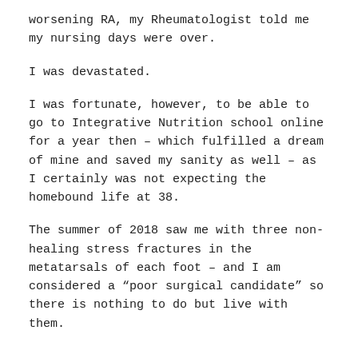worsening RA, my Rheumatologist told me my nursing days were over.
I was devastated.
I was fortunate, however, to be able to go to Integrative Nutrition school online for a year then – which fulfilled a dream of mine and saved my sanity as well – as I certainly was not expecting the homebound life at 38.
The summer of 2018 saw me with three non-healing stress fractures in the metatarsals of each foot – and I am considered a “poor surgical candidate” so there is nothing to do but live with them.